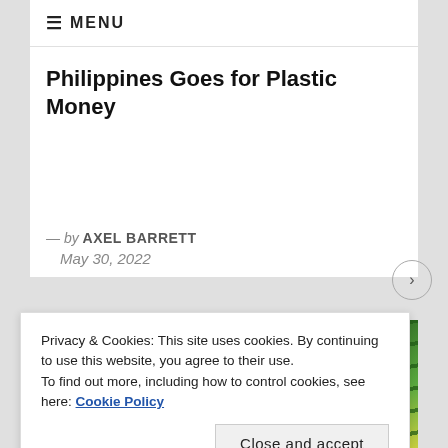≡ MENU
Philippines Goes for Plastic Money
— by AXEL BARRETT
May 30, 2022
[Figure (photo): Photograph of green bamboo or sugarcane stalks close up]
Privacy & Cookies: This site uses cookies. By continuing to use this website, you agree to their use.
To find out more, including how to control cookies, see here: Cookie Policy
Close and accept